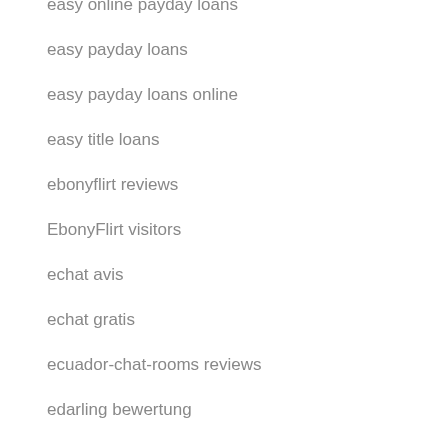easy online payday loans
easy payday loans
easy payday loans online
easy title loans
ebonyflirt reviews
EbonyFlirt visitors
echat avis
echat gratis
ecuador-chat-rooms reviews
edarling bewertung
edarling espa?a
eDarling szukaj wedlug nazwy
eDarling visitors
eharmony cost service
Eharmony hookup website